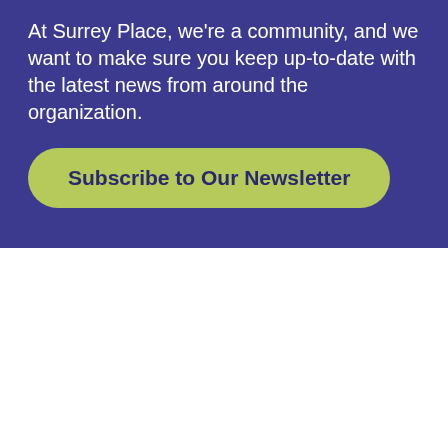At Surrey Place, we're a community, and we want to make sure you keep up-to-date with the latest news from around the organization.
Subscribe to Our Newsletter
[Figure (logo): Surrey Place logo with text SURREY PLACE and a green tree/circle icon between the two words]
[Figure (infographic): Row of five grey social media icons: Facebook, Twitter, Instagram, LinkedIn, YouTube]